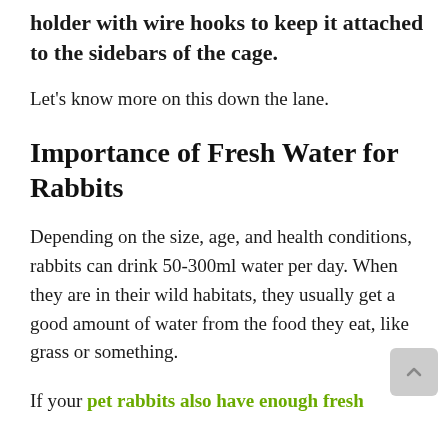holder with wire hooks to keep it attached to the sidebars of the cage.
Let's know more on this down the lane.
Importance of Fresh Water for Rabbits
Depending on the size, age, and health conditions, rabbits can drink 50-300ml water per day. When they are in their wild habitats, they usually get a good amount of water from the food they eat, like grass or something.
If your pet rabbits also have enough fresh